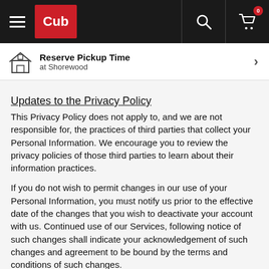Cub — navigation bar with hamburger menu, Cub logo, search icon, and cart icon with badge 0
Reserve Pickup Time at Shorewood
Updates to the Privacy Policy
This Privacy Policy does not apply to, and we are not responsible for, the practices of third parties that collect your Personal Information. We encourage you to review the privacy policies of those third parties to learn about their information practices.
If you do not wish to permit changes in our use of your Personal Information, you must notify us prior to the effective date of the changes that you wish to deactivate your account with us. Continued use of our Services, following notice of such changes shall indicate your acknowledgement of such changes and agreement to be bound by the terms and conditions of such changes.
Managing Communication Preferences
If you have provided us with your contact information, we may send you email messages, direct mail offers, push